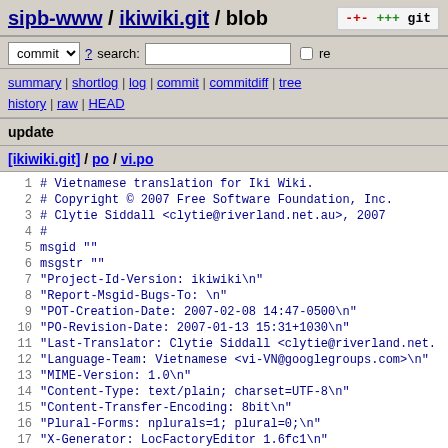sipb-www / ikiwiki.git / blob
commit ? search: re
summary | shortlog | log | commit | commitdiff | tree history | raw | HEAD
update
[ikiwiki.git] / po / vi.po
1 # Vietnamese translation for Iki Wiki.
2 # Copyright © 2007 Free Software Foundation, Inc.
3 # Clytie Siddall <clytie@riverland.net.au>, 2007
4 #
5 msgid ""
6 msgstr ""
7 "Project-Id-Version: ikiwiki\n"
8 "Report-Msgid-Bugs-To: \n"
9 "POT-Creation-Date: 2007-02-08 14:47-0500\n"
10 "PO-Revision-Date: 2007-01-13 15:31+1030\n"
11 "Last-Translator: Clytie Siddall <clytie@riverland.net.
12 "Language-Team: Vietnamese <vi-VN@googlegroups.com>\n"
13 "MIME-Version: 1.0\n"
14 "Content-Type: text/plain; charset=UTF-8\n"
15 "Content-Transfer-Encoding: 8bit\n"
16 "Plural-Forms: nplurals=1; plural=0;\n"
17 "X-Generator: LocFactoryEditor 1.6fc1\n"
18 
19 #: ../TkiWiki/CGI.pm:152